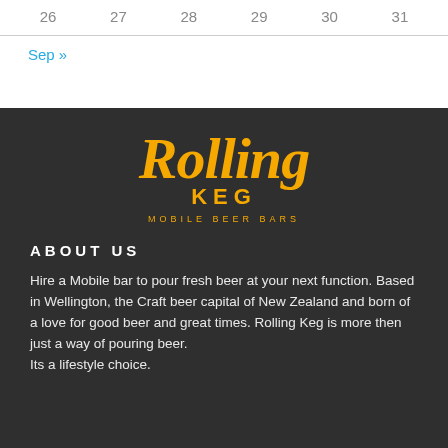26   27   28   29   30   31
Sep »
[Figure (logo): Rolling Keg Mobile Beer Bars logo in orange script on dark background]
ABOUT US
Hire a Mobile bar to pour fresh beer at your next function. Based in Wellington, the Craft beer capital of New Zealand and born of a love for good beer and great times. Rolling Keg is more then just a way of pouring beer. Its a lifestyle choice.